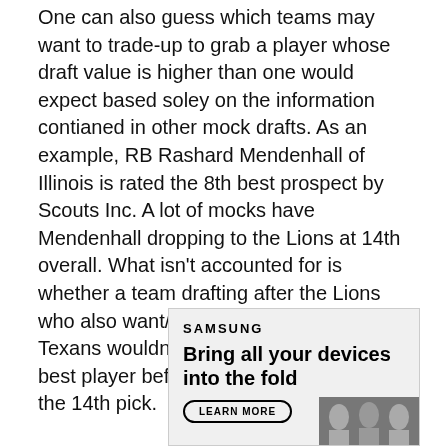One can also guess which teams may want to trade-up to grab a player whose draft value is higher than one would expect based soley on the information contianed in other mock drafts. As an example, RB Rashard Mendenhall of Illinois is rated the 8th best prospect by Scouts Inc. A lot of mocks have Mendenhall dropping to the Lions at 14th overall. What isn't accounted for is whether a team drafting after the Lions who also want/need a RB like the Houston Texans wouldn't trade-up to select this 8th-best player before the Lions take him with the 14th pick.
[Figure (other): Samsung advertisement: 'Bring all your devices into the fold' with a Learn More button and a photo of people at the bottom right.]